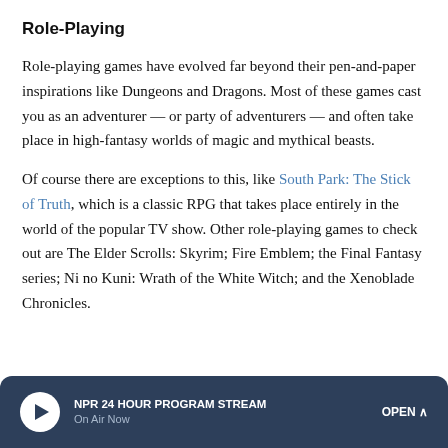Role-Playing
Role-playing games have evolved far beyond their pen-and-paper inspirations like Dungeons and Dragons. Most of these games cast you as an adventurer — or party of adventurers — and often take place in high-fantasy worlds of magic and mythical beasts.
Of course there are exceptions to this, like South Park: The Stick of Truth, which is a classic RPG that takes place entirely in the world of the popular TV show. Other role-playing games to check out are The Elder Scrolls: Skyrim; Fire Emblem; the Final Fantasy series; Ni no Kuni: Wrath of the White Witch; and the Xenoblade Chronicles.
NPR 24 HOUR PROGRAM STREAM On Air Now OPEN